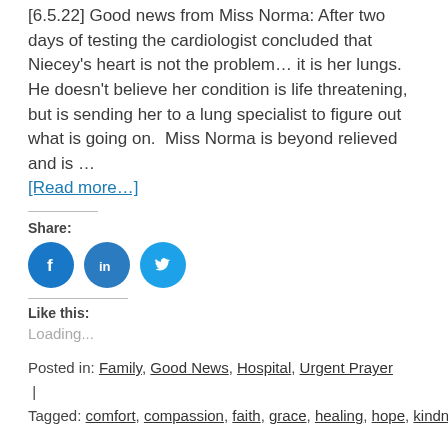[6.5.22] Good news from Miss Norma: After two days of testing the cardiologist concluded that Niecey's heart is not the problem… it is her lungs. He doesn't believe her condition is life threatening, but is sending her to a lung specialist to figure out what is going on. Miss Norma is beyond relieved and is … [Read more…]
Share:
[Figure (infographic): Three circular social media share buttons: Facebook (blue), LinkedIn (blue), Twitter (blue)]
Like this:
Loading...
Posted in: Family, Good News, Hospital, Urgent Prayer | Tagged: comfort, compassion, faith, grace, healing, hope, kindness, love, mercy, prayer